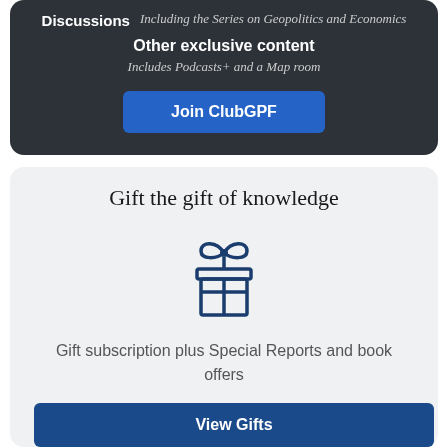Discussions
Including the Series on Geopolitics and Economics
Other exclusive content
Includes Podcasts+ and a Map room
Join ClubGPF
Gift the gift of knowledge
[Figure (illustration): Gift box icon in dark blue outline style]
Gift subscription plus Special Reports and book offers
View Gifts